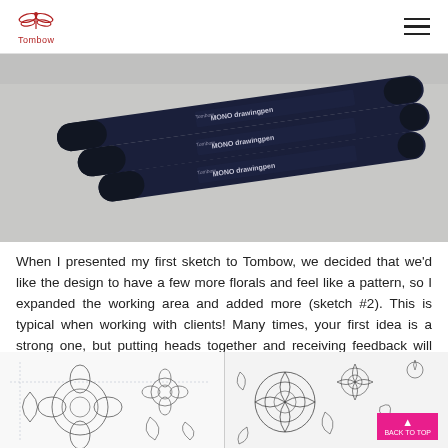Tombow
[Figure (photo): Three Tombow MONO drawing pens arranged diagonally on a light gray surface. The pens are dark navy/black with silver text reading 'Tombow MONO drawingpen'. Three different nib sizes visible.]
When I presented my first sketch to Tombow, we decided that we'd like the design to have a few more florals and feel like a pattern, so I expanded the working area and added more (sketch #2). This is typical when working with clients! Many times, your first idea is a strong one, but putting heads together and receiving feedback will make it even better!
[Figure (illustration): Two floral sketches side by side. Left: a pencil/ink sketch of roses and flowers with visible construction lines. Right: a more detailed floral pattern illustration with roses, leaves, and botanical elements.]